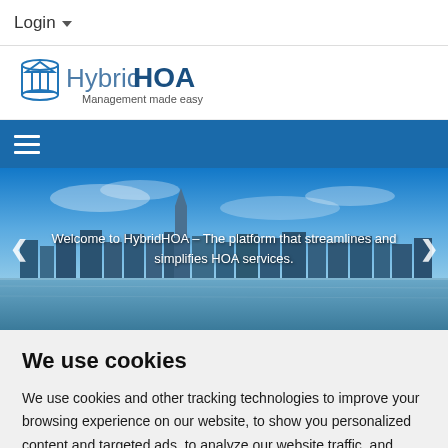Login
[Figure (logo): HybridHOA logo with icon and tagline 'Management made easy']
[Figure (screenshot): Blue navigation bar with hamburger menu icon]
[Figure (photo): City skyline photo with text overlay: 'Welcome to HybridHOA – The platform that streamlines and simplifies HOA services.']
We use cookies
We use cookies and other tracking technologies to improve your browsing experience on our website, to show you personalized content and targeted ads, to analyze our website traffic, and